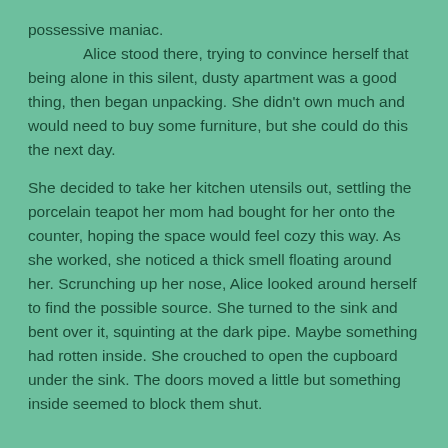possessive maniac.

        Alice stood there, trying to convince herself that being alone in this silent, dusty apartment was a good thing, then began unpacking. She didn't own much and would need to buy some furniture, but she could do this the next day.

She decided to take her kitchen utensils out, settling the porcelain teapot her mom had bought for her onto the counter, hoping the space would feel cozy this way. As she worked, she noticed a thick smell floating around her. Scrunching up her nose, Alice looked around herself to find the possible source. She turned to the sink and bent over it, squinting at the dark pipe. Maybe something had rotten inside. She crouched to open the cupboard under the sink. The doors moved a little but something inside seemed to block them shut.